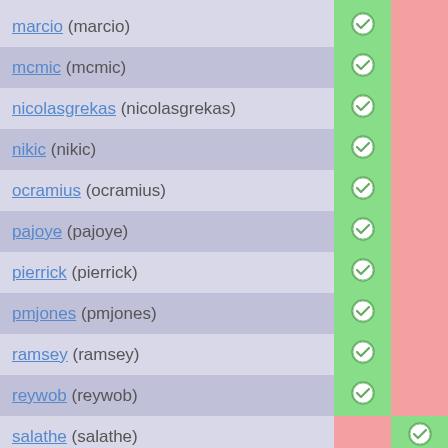| Name | Col1 | Col2 |
| --- | --- | --- |
| marcio (marcio) | ✓ |  |
| mcmic (mcmic) | ✓ |  |
| nicolasgrekas (nicolasgrekas) | ✓ |  |
| nikic (nikic) | ✓ |  |
| ocramius (ocramius) | ✓ |  |
| pajoye (pajoye) | ✓ |  |
| pierrick (pierrick) | ✓ |  |
| pmjones (pmjones) | ✓ |  |
| ramsey (ramsey) | ✓ |  |
| reywob (reywob) | ✓ |  |
| salathe (salathe) |  | ✓ |
| sebastian (sebastian) | ✓ |  |
| sergey (sergey) | ✓ |  |